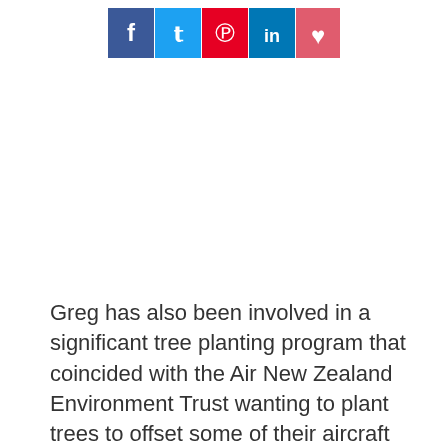[Figure (other): Social media share buttons row: Facebook (dark blue), Twitter (light blue), Pinterest (red), LinkedIn (blue), Love/heart (pink-red)]
Greg has also been involved in a significant tree planting program that coincided with the Air New Zealand Environment Trust wanting to plant trees to offset some of their aircraft emissions. This enabled them to bring their environmental footprint back down to earth - by planting 85,000 trees, the